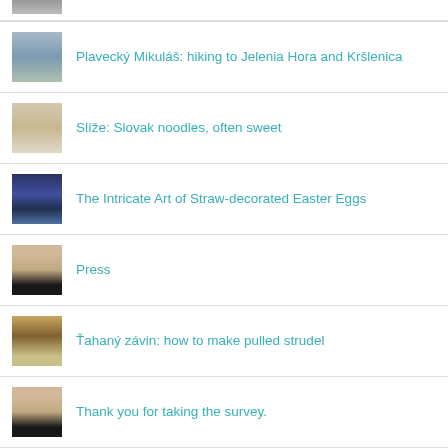Plavecký Mikuláš: hiking to Jelenia Hora and Kršlenica
Slíže: Slovak noodles, often sweet
The Intricate Art of Straw-decorated Easter Eggs
Press
Ťahaný závin: how to make pulled strudel
Thank you for taking the survey.